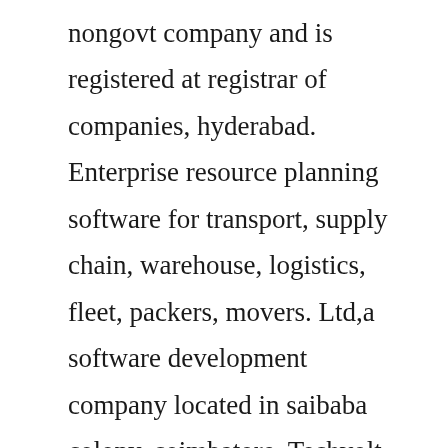nongovt company and is registered at registrar of companies, hyderabad. Enterprise resource planning software for transport, supply chain, warehouse, logistics, fleet, packers, movers. Ltd,a software development company located in saibaba colony, coimbatore. Techvolt software involves in various business entity like software development,web development,android applications,embedded systems,internet of thingsiot,digital marketing services along with internship training provider located at coimbatore. To groom students to become specialized computer